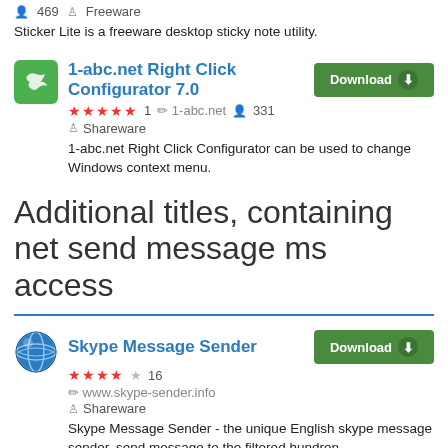469  Freeware
Sticker Lite is a freeware desktop sticky note utility.
1-abc.net Right Click Configurator 7.0
★★★★★ 1  ✏ 1-abc.net  👤 331  Shareware
1-abc.net Right Click Configurator can be used to change Windows context menu.
Additional titles, containing net send message ms access
Skype Message Sender
★★★★☆ 16  www.skype-sender.info  Shareware
Skype Message Sender - the unique English skype message sender, send message to the filtered hundren....